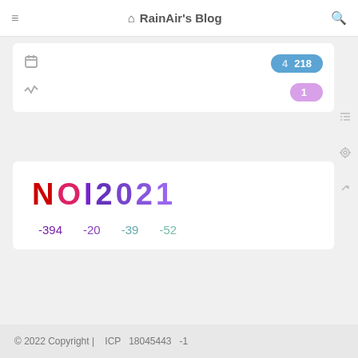RainAir's Blog
[Figure (screenshot): Card panel with calendar icon, badge showing '4  218', activity icon, and badge showing '1']
NOI2021
-394   -20   -39   -52
© 2022 Copyright |   ICP   18045443   -1